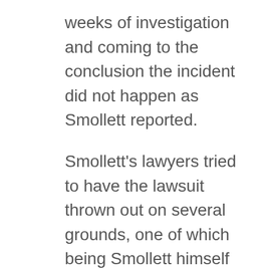weeks of investigation and coming to the conclusion the incident did not happen as Smollett reported.
Smollett's lawyers tried to have the lawsuit thrown out on several grounds, one of which being Smollett himself did not direct the Chicago police department to investigate the incident. Smollett could not have known how much money or time that an investigation would take.
Alleging that Smollett made the whole thing up and wasted Chicago resources, he is also facing criminal charges, he is